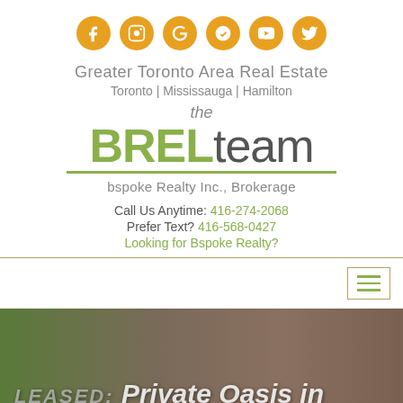[Figure (infographic): Row of 6 orange social media icons (Facebook, Instagram, Google, Yelp, YouTube, Twitter) in orange circles]
Greater Toronto Area Real Estate
Toronto | Mississauga | Hamilton
[Figure (logo): The BREL team logo with 'the' above, 'BREL' in green bold and 'team' in gray, with green underline, and 'bspoke Realty Inc., Brokerage' below]
Call Us Anytime: 416-274-2068
Prefer Text? 416-568-0427
Looking for Bspoke Realty?
[Figure (photo): Photo of a brick house with trees and the text 'LEASED: Private Oasis in the City | 180 Wheeler' overlaid]
LEASED: Private Oasis in the City | 180 Wheeler